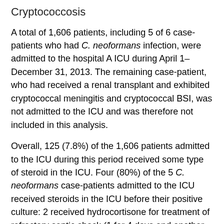Cryptococcosis
A total of 1,606 patients, including 5 of 6 case-patients who had C. neoformans infection, were admitted to the hospital A ICU during April 1–December 31, 2013. The remaining case-patient, who had received a renal transplant and exhibited cryptococcal meningitis and cryptococcal BSI, was not admitted to the ICU and was therefore not included in this analysis.
Overall, 125 (7.8%) of the 1,606 patients admitted to the ICU during this period received some type of steroid in the ICU. Four (80%) of the 5 C. neoformans case-patients admitted to the ICU received steroids in the ICU before their positive culture: 2 received hydrocortisone for treatment of refractory septic shock (1 for 4 days and another for 11 days); 1 received methylprednisolone for 1 day for tumor lysis syndrome followed by an oral prednisone taper